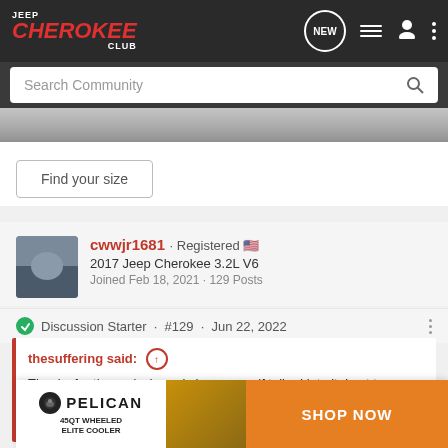Jeep Cherokee Club - Navigation bar with logo, NEW, list, user, and menu icons
Search Community
[Figure (photo): Partial view of a vehicle image, dark tones]
Find your size
cwwjr1681 · Registered 🇺🇸
2017 Jeep Cherokee 3.2L V6
Joined Feb 18, 2021 · 129 Posts
Discussion Starter · #129 · Jun 22, 2022
thesuffering said:
Thanks for the reply. I nearly have myself talked into it. Last two questions...
1. OEM
[Figure (illustration): Pelican 45QT Wheeled Elite Cooler advertisement banner with orange Shop Now button]